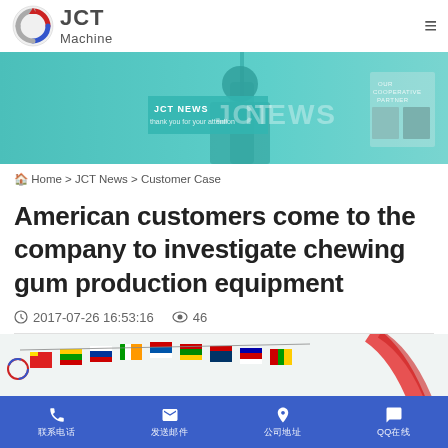[Figure (logo): JCT Machine company logo with circular arrow icon in red, white, and blue]
[Figure (photo): JCT News banner with teal background showing industrial equipment and cooperative partner photos]
🏠 Home > JCT News > Customer Case
American customers come to the company to investigate chewing gum production equipment
🕐 2017-07-26 16:53:16   👁 46
[Figure (photo): Colorful international flags displayed on a surface with red chewing gum strips]
📞 联系电话   ✉ 发送邮件   📍 公司地址   QQ在线